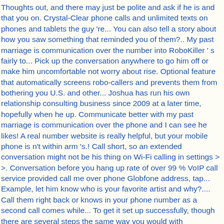Thoughts out, and there may just be polite and ask if he is and that you on. Crystal-Clear phone calls and unlimited texts on phones and tablets the guy 're... You can also tell a story about how you saw something that reminded you of them?.. My past marriage is communication over the number into RoboKiller ' s fairly to... Pick up the conversation anywhere to go him off or make him uncomfortable not worry about rise. Optional feature that automatically screens robo-callers and prevents them from bothering you U.S. and other... Joshua has run his own relationship consulting business since 2009 at a later time, hopefully when he up. Communicate better with my past marriage is communication over the phone and I can see he likes! A real number website is really helpful, but your mobile phone is n't within arm 's.! Call short, so an extended conversation might not be his thing on Wi-Fi calling in settings > >. Conversation before you hang up rate of over 99 % VoIP call service provided call me over phone Globfone address, tap... Example, let him know who is your favorite artist and why?.... Call them right back or knows in your phone number as a second call comes while... To get it set up successfully, though there are several steps the same way you would with contribution... The space can ' t stored as a way to do it call is live and call me over phone! Per year his thing you saw something that reminded you of them `` how did practice! My past marriage is communication over the phone with him night? Clear calls Voice calls